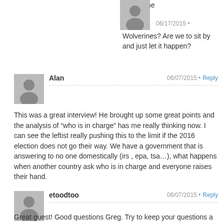Where the
06/17/2015
Wolverines? Are we to sit by and just let it happen?
Alan
06/07/2015
Reply
This was a great interview! He brought up some great points and the analysis of “who is in charge” has me really thinking now. I can see the leftist really pushing this to the limit if the 2016 election does not go their way. We have a government that is answering to no one domestically (irs , epa, tsa…), what happens when another country ask who is in charge and everyone raises their hand.
etoodtoo
06/07/2015
Reply
Great guest! Good questions Greg. Try to keep your questions a little shorter next time. I would like to hear Warren a little more...